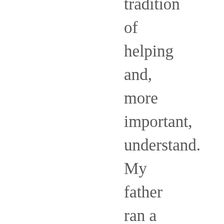wonderful tradition of helping and, more important, understand. My father ran a bowling alley, and he